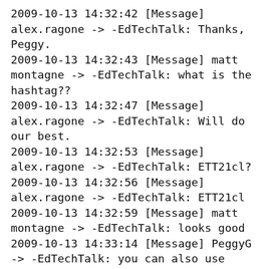2009-10-13 14:32:42 [Message] alex.ragone -> -EdTechTalk: Thanks, Peggy.
2009-10-13 14:32:43 [Message] matt montagne -> -EdTechTalk: what is the hashtag??
2009-10-13 14:32:47 [Message] alex.ragone -> -EdTechTalk: Will do our best.
2009-10-13 14:32:53 [Message] alex.ragone -> -EdTechTalk: ETT21cl?
2009-10-13 14:32:56 [Message] alex.ragone -> -EdTechTalk: ETT21cl
2009-10-13 14:32:59 [Message] matt montagne -> -EdTechTalk: looks good
2009-10-13 14:33:14 [Message] PeggyG -> -EdTechTalk: you can also use #edtechtalk
2009-10-13 14:33:20 [Message] matt montagne -> -EdTechTalk: I learned you can post to hashtags if your status updates are